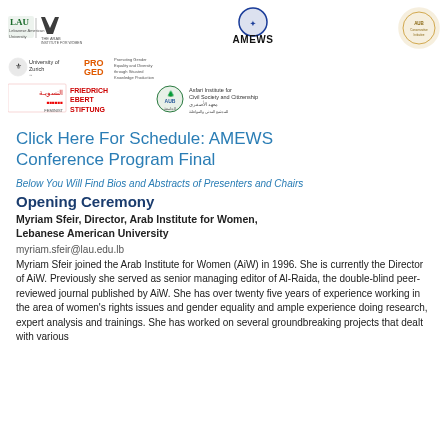[Figure (logo): Row of logos: LAU, Arab Institute for Women, AMEWS (blue circular logo), AUB Conservative Initiative (gold circular logo)]
[Figure (logo): Row of logos: University of Zurich, PROGED, Friedrich Ebert Stiftung, AUB Asfari Institute for Civil Society and Citizenship]
Click Here For Schedule: AMEWS Conference Program Final
Below You Will Find Bios and Abstracts of Presenters and Chairs
Opening Ceremony
Myriam Sfeir, Director, Arab Institute for Women, Lebanese American University
myriam.sfeir@lau.edu.lb
Myriam Sfeir joined the Arab Institute for Women (AiW) in 1996. She is currently the Director of AiW. Previously she served as senior managing editor of Al-Raida, the double-blind peer-reviewed journal published by AiW. She has over twenty five years of experience working in the area of women's rights issues and gender equality and ample experience doing research, expert analysis and trainings. She has worked on several groundbreaking projects that dealt with various